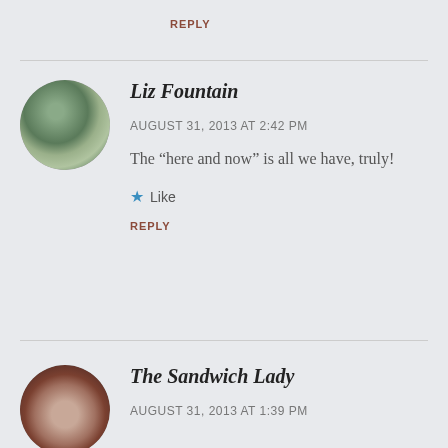REPLY
[Figure (photo): Circular avatar photo of Liz Fountain showing a goat or animal outdoors]
Liz Fountain
AUGUST 31, 2013 AT 2:42 PM
The “here and now” is all we have, truly!
★ Like
REPLY
[Figure (photo): Circular avatar photo of The Sandwich Lady showing a woman with short hair]
The Sandwich Lady
AUGUST 31, 2013 AT 1:39 PM